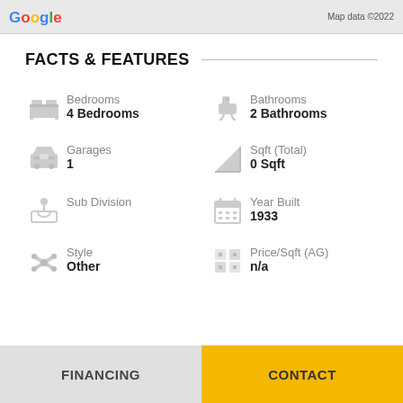[Figure (screenshot): Google Maps partial screenshot with map data ©2022 credit]
FACTS & FEATURES
Bedrooms
4 Bedrooms
Bathrooms
2 Bathrooms
Garages
1
Sqft (Total)
0 Sqft
Sub Division
Year Built
1933
Style
Other
Price/Sqft (AG)
n/a
FINANCING
CONTACT